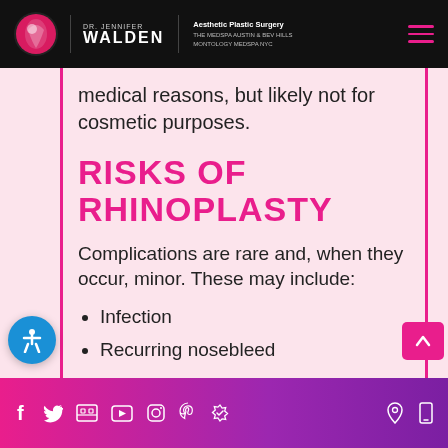DR. JENNIFER WALDEN | Aesthetic Plastic Surgery | THE MEDSPA AUSTIN & BEV HILLS MONTOLOGY MEDSPA NYC
medical reasons, but likely not for cosmetic purposes.
RISKS OF RHINOPLASTY
Complications are rare and, when they occur, minor. These may include:
Infection
Recurring nosebleed
Social media icons: Facebook, Twitter, Google, YouTube, Instagram, Pinterest, Checkmark | Location, Mobile